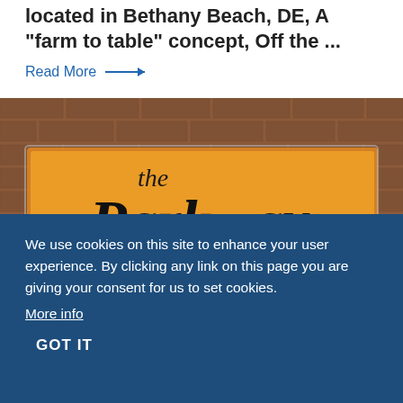located in Bethany Beach, DE, A "farm to table" concept, Off the ...
Read More →
[Figure (photo): Illuminated sign reading 'the Parkway' mounted on a brick wall with warm backlighting.]
We use cookies on this site to enhance your user experience. By clicking any link on this page you are giving your consent for us to set cookies. More info
GOT IT